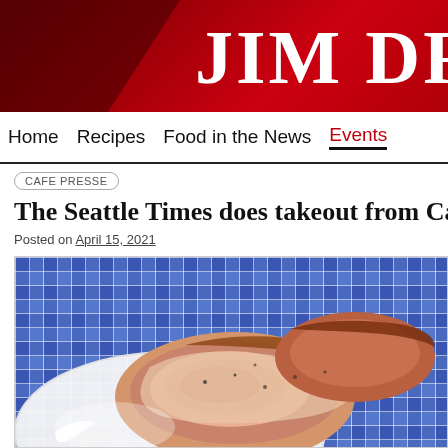JIM DR
Home  Recipes  Food in the News  Events
CAFE PRESSE
The Seattle Times does takeout from Café P
Posted on April 15, 2021
[Figure (photo): Close-up photo of sliced roast pork or ham on a white plate with a blue and white checkered cloth in the background]